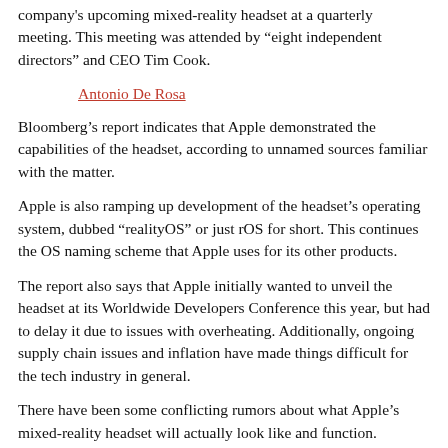company's upcoming mixed-reality headset at a quarterly meeting. This meeting was attended by “eight independent directors” and CEO Tim Cook.
Antonio De Rosa
Bloomberg’s report indicates that Apple demonstrated the capabilities of the headset, according to unnamed sources familiar with the matter.
Apple is also ramping up development of the headset’s operating system, dubbed “realityOS” or just rOS for short. This continues the OS naming scheme that Apple uses for its other products.
The report also says that Apple initially wanted to unveil the headset at its Worldwide Developers Conference this year, but had to delay it due to issues with overheating. Additionally, ongoing supply chain issues and inflation have made things difficult for the tech industry in general.
There have been some conflicting rumors about what Apple’s mixed-reality headset will actually look like and function. However, most rumors agree that there will be a number of cameras and sensors to allow you to see the outside world.
It will also likely feature micro-LED displays with an amazing 8K...